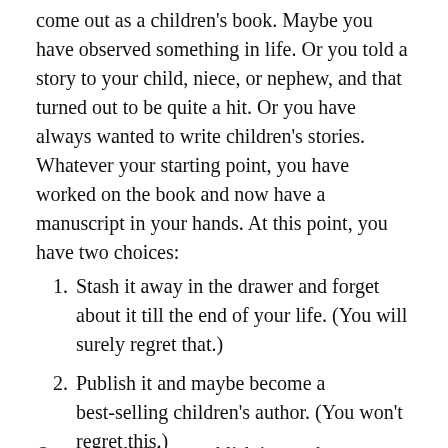come out as a children's book. Maybe you have observed something in life. Or you told a story to your child, niece, or nephew, and that turned out to be quite a hit. Or you have always wanted to write children's stories. Whatever your starting point, you have worked on the book and now have a manuscript in your hands. At this point, you have two choices:
Stash it away in the drawer and forget about it till the end of your life. (You will surely regret that.)
Publish it and maybe become a best-selling children's author. (You won't regret this.)
Once you decide to publish it, you have to choose